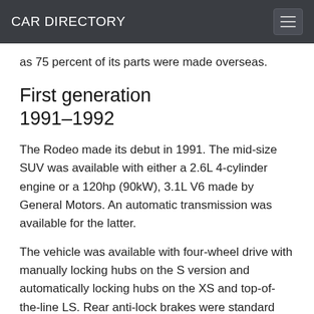CAR DIRECTORY
as 75 percent of its parts were made overseas.
First generation 1991–1992
The Rodeo made its debut in 1991. The mid-size SUV was available with either a 2.6L 4-cylinder engine or a 120hp (90kW), 3.1L V6 made by General Motors. An automatic transmission was available for the latter.
The vehicle was available with four-wheel drive with manually locking hubs on the S version and automatically locking hubs on the XS and top-of-the-line LS. Rear anti-lock brakes were standard feature, but not an option for all four wheels.